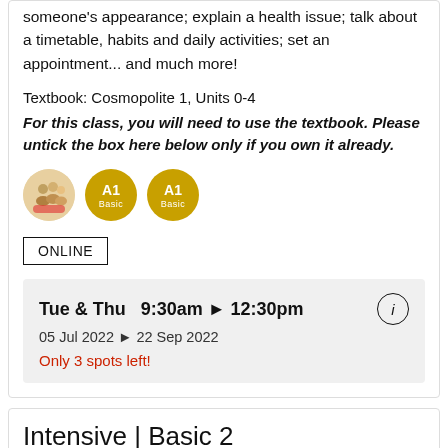someone's appearance; explain a health issue; talk about a timetable, habits and daily activities; set an appointment... and much more!
Textbook: Cosmopolite 1, Units 0-4
For this class, you will need to use the textbook. Please untick the box here below only if you own it already.
[Figure (illustration): Row of three circular icons: a photo icon showing a group of people, and two golden A1 level badges]
ONLINE
Tue & Thu  9:30am ▶ 12:30pm
05 Jul 2022 ▶ 22 Sep 2022
Only 3 spots left!
Intensive | Basic 2